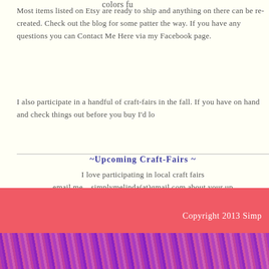colors fu
Most items listed on Etsy are ready to ship and anything on there can be re-created. Check out the blog for some patter the way. If you have any questions you can Contact Me Here via my Facebook page.
I also participate in a handful of craft-fairs in the fall. If you have on hand and check things out before you buy I'd lo
~Upcoming Craft-Fairs ~
I love participating in local craft fairs email me – simplymelinda(at)gmail.com about your up
TBD
Copyright 2013 Simp